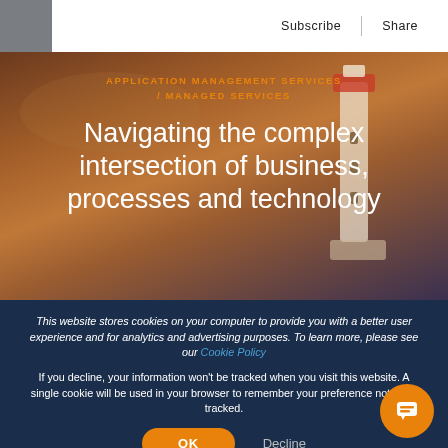Subscribe | Share
APPLICATION MANAGEMENT SERVICES / MANAGED SERVICES
Navigating the complex intersection of business, processes and technology
This website stores cookies on your computer to provide you with a better user experience and for analytics and advertising purposes. To learn more, please see our Cookie Policy
If you decline, your information won't be tracked when you visit this website. A single cookie will be used in your browser to remember your preference not to be tracked.
OK | Decline